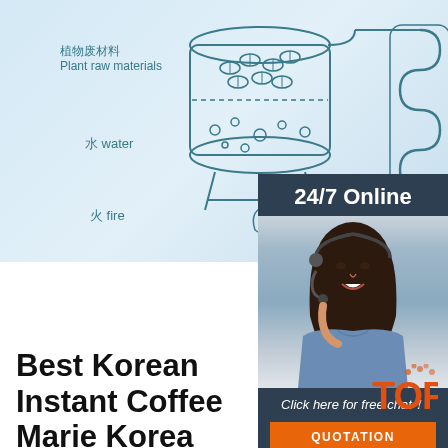[Figure (schematic): Distillation / essential oil extraction diagram with Chinese and English labels: 植物废材料 Plant raw materials, 水 water, 火 fire, 纯露 Hydrosol, 精油 essential oil. Shows a distillation flask with plant materials, heating flame, condenser coil, and collection vessels.]
[Figure (photo): 24/7 Online customer service sidebar with dark background at top showing '24/7 Online', a photo of a smiling woman with headset in a blue shirt, and a dark bottom section with 'Click here for free chat!' text and an orange QUOTATION button.]
Best Korean Instant Coffee Marie Korea
2018-9-5 · The Best Korean Instant Coffee Brands. South Korea is the country of instant mix coffee with its major brand being Maxim. But Maxim is not the only brand, listed below are the best Korean coffee packets brands. 1. Maxim Coffee. Maxim is the most famous Korean coffee brand in South